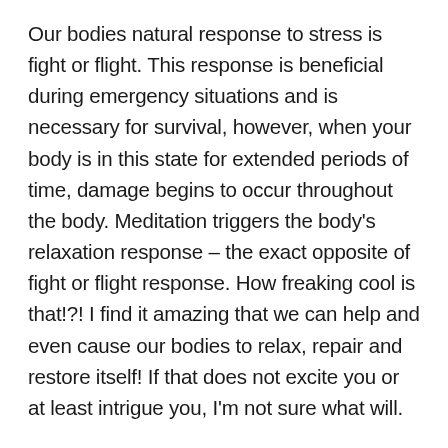Our bodies natural response to stress is fight or flight. This response is beneficial during emergency situations and is necessary for survival, however, when your body is in this state for extended periods of time, damage begins to occur throughout the body. Meditation triggers the body's relaxation response – the exact opposite of fight or flight response. How freaking cool is that!?! I find it amazing that we can help and even cause our bodies to relax, repair and restore itself! If that does not excite you or at least intrigue you, I'm not sure what will.
As mentioned before, by practicing meditation daily you can experience less stress as well as changes in your response to stress, allowing you to recover easier from stressful situations. Research has found regular